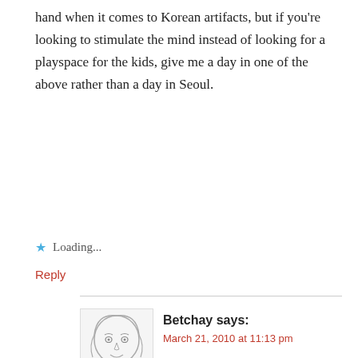hand when it comes to Korean artifacts, but if you're looking to stimulate the mind instead of looking for a playspace for the kids, give me a day in one of the above rather than a day in Seoul.
★ Loading...
Reply
Betchay says: March 21, 2010 at 11:13 pm
oops my mistake. I love the museums of NYC and Washington, DC that I'm hoping to go back there someday.